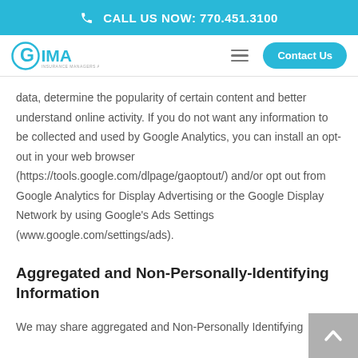CALL US NOW: 770.451.3100
[Figure (logo): GIMA company logo in teal/blue color with circular G icon]
data, determine the popularity of certain content and better understand online activity. If you do not want any information to be collected and used by Google Analytics, you can install an opt-out in your web browser (https://tools.google.com/dlpage/gaoptout/) and/or opt out from Google Analytics for Display Advertising or the Google Display Network by using Google’s Ads Settings (www.google.com/settings/ads).
Aggregated and Non-Personally-Identifying Information
We may share aggregated and Non-Personally Identifying